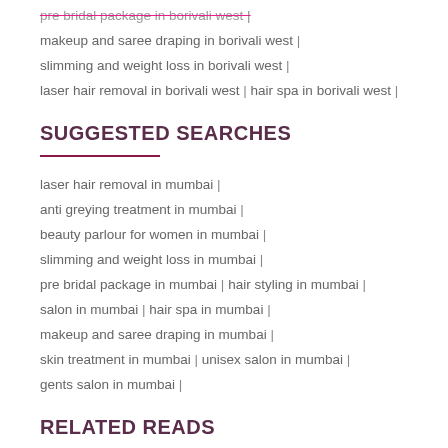pre bridal package in borivali west | makeup and saree draping in borivali west | slimming and weight loss in borivali west | laser hair removal in borivali west | hair spa in borivali west |
SUGGESTED SEARCHES
laser hair removal in mumbai | anti greying treatment in mumbai | beauty parlour for women in mumbai | slimming and weight loss in mumbai | pre bridal package in mumbai | hair styling in mumbai | salon in mumbai | hair spa in mumbai | makeup and saree draping in mumbai | skin treatment in mumbai | unisex salon in mumbai | gents salon in mumbai |
RELATED READS
Bridal Makeup - 5 Blunders To Avoid!